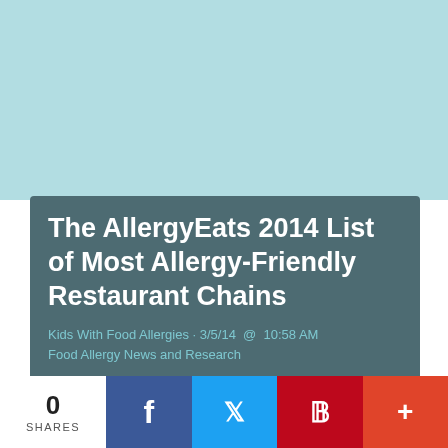[Figure (photo): Light blue/teal background image area at the top of the page]
The AllergyEats 2014 List of Most Allergy-Friendly Restaurant Chains
Kids With Food Allergies · 3/5/14 @ 10:58 AM
Food Allergy News and Research
AllergyEats Releases 2014 List of Most Allergy-Friendly Restaurant Chains
Kids With Food Allergies
Follow
Updated List Spotlights Restaurants
0
SHARES